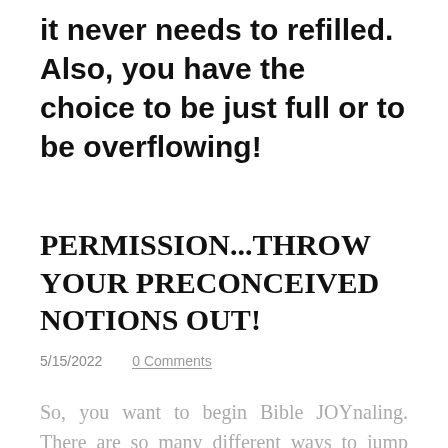it never needs to refilled. Also, you have the choice to be just full or to be overflowing!
PERMISSION...THROW YOUR PRECONCEIVED NOTIONS OUT!
5/15/2022    0 Comments
So, you want to begin Bible JOYnaling. There are so many different ways to jump in!!! When I began my